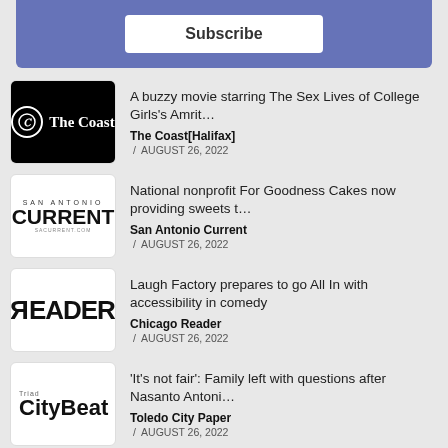[Figure (screenshot): Subscribe button on a blue/purple banner background]
A buzzy movie starring The Sex Lives of College Girls's Amrit… | The Coast[Halifax] / AUGUST 26, 2022
National nonprofit For Goodness Cakes now providing sweets t… | San Antonio Current / AUGUST 26, 2022
Laugh Factory prepares to go All In with accessibility in comedy | Chicago Reader / AUGUST 26, 2022
'It's not fair': Family left with questions after Nasanto Antoni… | Toledo City Paper / AUGUST 26, 2022